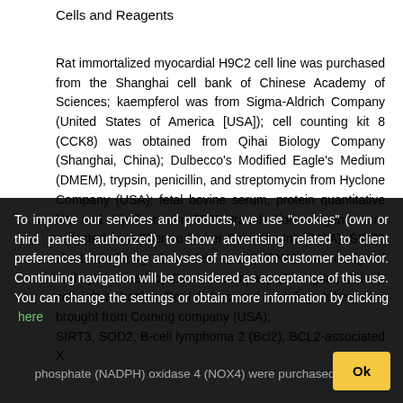Cells and Reagents
Rat immortalized myocardial H9C2 cell line was purchased from the Shanghai cell bank of Chinese Academy of Sciences; kaempferol was from Sigma-Aldrich Company (United States of America [USA]); cell counting kit 8 (CCK8) was obtained from Qihai Biology Company (Shanghai, China); Dulbecco's Modified Eagle's Medium (DMEM), trypsin, penicillin, and streptomycin from Hyclone Company (USA); fetal bovine serum, protein quantitative kit, and Lipofectamin 3000 transfection reagent were collected from Thermo Fisher Scientific Inc. (USA); SIRT3 short interfering ribonucleic acid (siRNA) was designed and synthesized by Gemma company (Shanghai, China); cell culture bottles, Petri dishes, and centrifuge tubes were brought from Corning company (USA); SIRT3, SOD2, B-cell lymphoma 2 (Bcl2), BCL2-associated X
To improve our services and products, we use "cookies" (own or third parties authorized) to show advertising related to client preferences through the analyses of navigation customer behavior. Continuing navigation will be considered as acceptance of this use. You can change the settings or obtain more information by clicking here